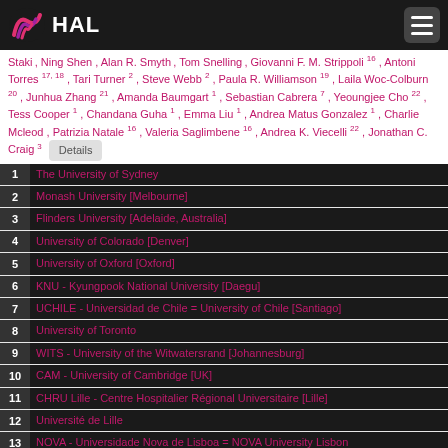HAL
Staki , Ning Shen , Alan R. Smyth , Tom Snelling , Giovanni F. M. Strippoli 16 , Antoni Torres 17, 18 , Tari Turner 2 , Steve Webb 2 , Paula R. Williamson 19 , Laila Woc-Colburn 20 , Junhua Zhang 21 , Amanda Baumgart 1 , Sebastian Cabrera 7 , Yeoungjee Cho 22 , Tess Cooper 1 , Chandana Guha 1 , Emma Liu 1 , Andrea Matus Gonzalez 1 , Charlie Mcleod , Patrizia Natale 16 , Valeria Saglimbene 16 , Andrea K. Viecelli 22 , Jonathan C. Craig 3
1 The University of Sydney
2 Monash University [Melbourne]
3 Flinders University [Adelaide, Australia]
4 University of Colorado [Denver]
5 University of Oxford [Oxford]
6 KNU - Kyungpook National University [Daegu]
7 UCHILE - Universidad de Chile = University of Chile [Santiago]
8 University of Toronto
9 WITS - University of the Witwatersrand [Johannesburg]
10 CAM - University of Cambridge [UK]
11 CHRU Lille - Centre Hospitalier Régional Universitaire [Lille]
12 Université de Lille
13 NOVA - Universidade Nova de Lisboa = NOVA University Lisbon
14 Jena University Hospital [Jena]
15 UON - University of Nottingham, UK
16 UNIBA - Università degli studi di Bari Aldo Moro
17 IDIBAPS - Institut d'Investigacions Biomèdiques August Pi i Sunyer